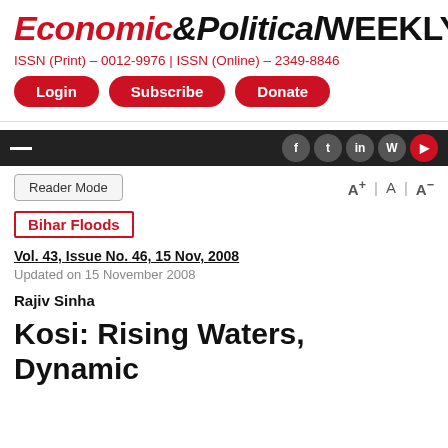Economic&Political WEEKLY
ISSN (Print) – 0012-9976 | ISSN (Online) – 2349-8846
Login  Subscribe  Donate
Reader Mode  A+ | A | A-
Bihar Floods
Vol. 43, Issue No. 46, 15 Nov, 2008
Updated on 15 November 2008
Rajiv Sinha
Kosi: Rising Waters, Dynamic